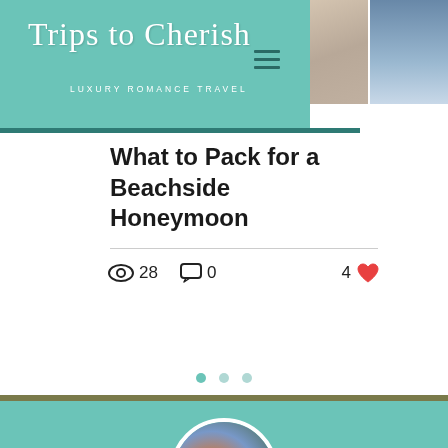Trips to Cherish — LUXURY ROMANCE TRAVEL
What to Pack for a Beachside Honeymoon
28 views  0 comments  4 likes
[Figure (photo): Circular photo of a couple — a woman with red hair in a coral top and a man in a blue shirt, posing outdoors with greenery in the background]
(859) 309-6229
info@tripstocherish.com